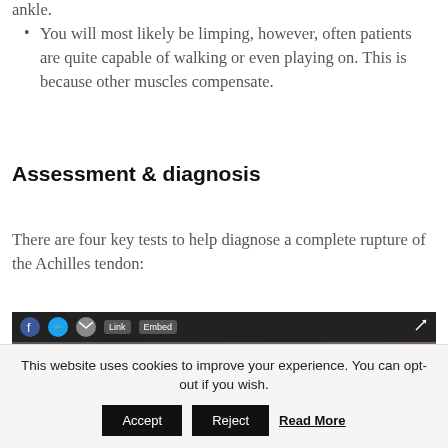ankle.
You will most likely be limping, however, often patients are quite capable of walking or even playing on. This is because other muscles compensate.
Assessment & diagnosis
There are four key tests to help diagnose a complete rupture of the Achilles tendon:
[Figure (screenshot): Video player thumbnail with social sharing toolbar (Facebook, Twitter, email, Link, Embed icons) and a dark preview image of a medical examination.]
This website uses cookies to improve your experience. You can opt-out if you wish. Accept Reject Read More